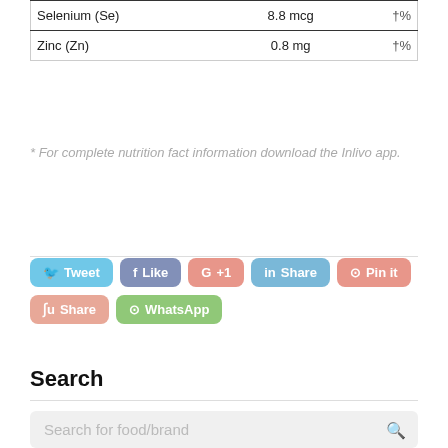|  |  |  |
| --- | --- | --- |
| Selenium (Se) | 8.8 mcg | †% |
| Zinc (Zn) | 0.8 mg | †% |
* For complete nutrition fact information download the Inlivo app.
[Figure (other): Social sharing buttons: Tweet, Like, +1, Share (LinkedIn), Pin it, Share (StumbleUpon), WhatsApp]
Search
Search for food/brand